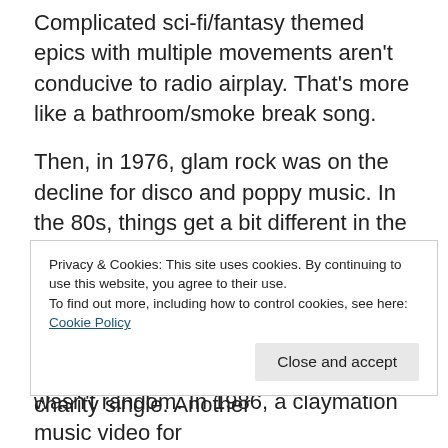Complicated sci-fi/fantasy themed epics with multiple movements aren't conducive to radio airplay. That's more like a bathroom/smoke break song.
Then, in 1976, glam rock was on the decline for disco and poppy music. In the 80s, things get a bit different in the UK. You see some ska, which was bigger in the UK than in the US. Britain loves a good charity record and they're really into that and those really took off in the 80s, that was the era of the charity single. Another
Privacy & Cookies: This site uses cookies. By continuing to use this website, you agree to their use.
To find out more, including how to control cookies, see here: Cookie Policy
wasn't random. In 1986, a claymation music video for